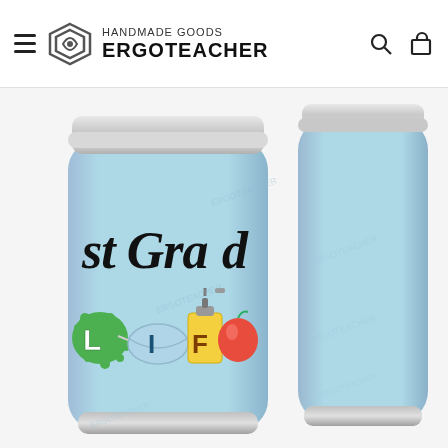HANDMADE GOODS ERGOTEACHER
[Figure (photo): Two light blue stainless steel tumblers side by side. The left tumbler shows a graphic print reading '1st Grade Life' with corona virus, face mask, hand sanitizer, and apple illustrations. The right tumbler shows the plain back side. Both cups have silver metallic rims at top and bottom. The brand watermark 'ERGOTEACHER' appears subtly across the image.]